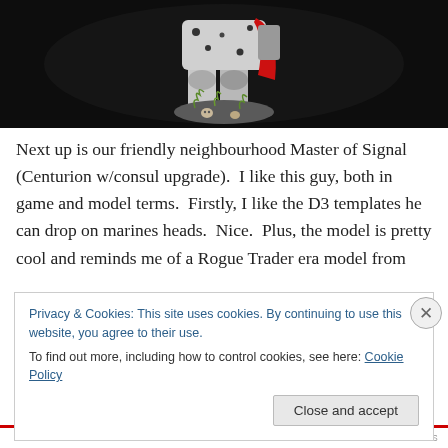[Figure (photo): A painted miniature figurine (Space Marine Master of Signal / Centurion with consul upgrade) on a dark background, shown from the waist down, in white/grey armour with red cloak and green base with grass tufts.]
Next up is our friendly neighbourhood Master of Signal (Centurion w/consul upgrade).  I like this guy, both in game and model terms.  Firstly, I like the D3 templates he can drop on marines heads.  Nice.  Plus, the model is pretty cool and reminds me of a Rogue Trader era model from
Privacy & Cookies: This site uses cookies. By continuing to use this website, you agree to their use.
To find out more, including how to control cookies, see here: Cookie Policy
Close and accept